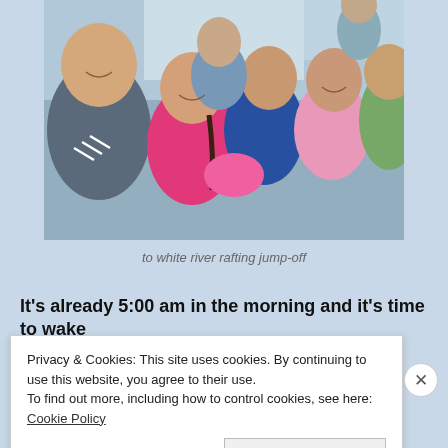[Figure (photo): Group selfie photo of several smiling young people seated inside a vehicle (van or jeepney), taking a selfie. One person wearing an Adidas shirt is in the foreground left, others are seated behind including people in pink, blue, and patterned clothing.]
to white river rafting jump-off
It's already 5:00 am in the morning and it's time to wake
Privacy & Cookies: This site uses cookies. By continuing to use this website, you agree to their use.
To find out more, including how to control cookies, see here: Cookie Policy
Close and accept